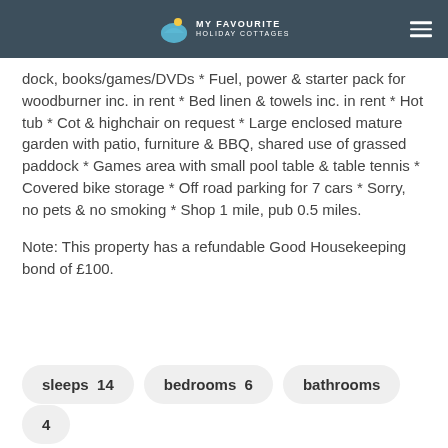MY FAVOURITE HOLIDAY COTTAGES
dock, books/games/DVDs * Fuel, power & starter pack for woodburner inc. in rent * Bed linen & towels inc. in rent * Hot tub * Cot & highchair on request * Large enclosed mature garden with patio, furniture & BBQ, shared use of grassed paddock * Games area with small pool table & table tennis * Covered bike storage * Off road parking for 7 cars * Sorry, no pets & no smoking * Shop 1 mile, pub 0.5 miles.
Note: This property has a refundable Good Housekeeping bond of £100.
sleeps  14   bedrooms  6   bathrooms  4